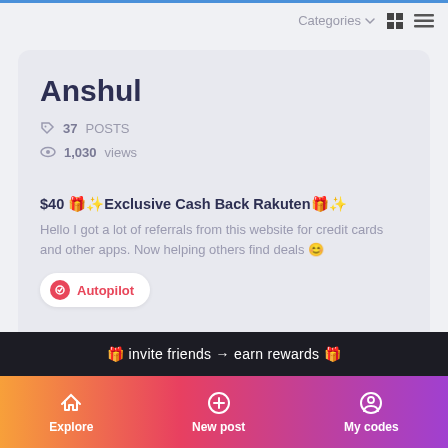Categories
Anshul
37 POSTS
1,030 views
$40 🎁✨Exclusive Cash Back Rakuten🎁✨
Hello I got a lot of referrals from this website for credit cards and other apps. Now helping others find deals 😊
Autopilot
🎁 invite friends → earn rewards 🎁
Explore   New post   My codes